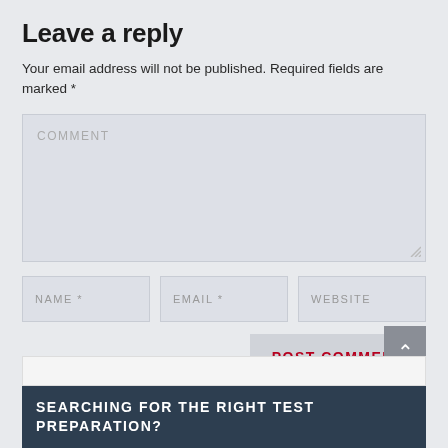Leave a reply
Your email address will not be published. Required fields are marked *
[Figure (screenshot): Comment text area input box with placeholder text 'COMMENT' and resize handle in bottom-right corner]
[Figure (screenshot): Three input fields in a row: NAME *, EMAIL *, WEBSITE]
[Figure (screenshot): POST COMMENT button in red text on grey background, with scroll-to-top arrow button on the right]
[Figure (screenshot): Search input box followed by dark navy banner reading 'SEARCHING FOR THE RIGHT TEST PREPARATION?']